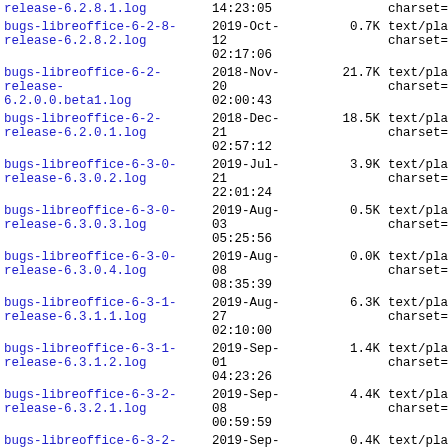| Filename | Date/Time | Size | Content-Type |
| --- | --- | --- | --- |
| release-6.2.8.1.log | 14:23:05 |  | charset=utf-8 |
| bugs-libreoffice-6-2-8-release-6.2.8.2.log | 2019-Oct-12 02:17:06 | 0.7K | text/plain; charset=utf-8 |
| bugs-libreoffice-6-2-release-6.2.0.0.beta1.log | 2018-Nov-20 02:00:43 | 21.7K | text/plain; charset=utf-8 |
| bugs-libreoffice-6-2-release-6.2.0.1.log | 2018-Dec-21 02:57:12 | 18.5K | text/plain; charset=utf-8 |
| bugs-libreoffice-6-3-0-release-6.3.0.2.log | 2019-Jul-21 22:01:24 | 3.9K | text/plain; charset=utf-8 |
| bugs-libreoffice-6-3-0-release-6.3.0.3.log | 2019-Aug-03 05:25:56 | 0.5K | text/plain; charset=utf-8 |
| bugs-libreoffice-6-3-0-release-6.3.0.4.log | 2019-Aug-08 08:35:39 | 0.0K | text/plain; charset=utf-8 |
| bugs-libreoffice-6-3-1-release-6.3.1.1.log | 2019-Aug-27 02:10:00 | 6.3K | text/plain; charset=utf-8 |
| bugs-libreoffice-6-3-1-release-6.3.1.2.log | 2019-Sep-01 04:23:26 | 1.4K | text/plain; charset=utf-8 |
| bugs-libreoffice-6-3-2-release-6.3.2.1.log | 2019-Sep-08 00:59:59 | 4.4K | text/plain; charset=utf-8 |
| bugs-libreoffice-6-3-2-release-6.3.2.2.log | 2019-Sep-20 19:30:55 | 0.4K | text/plain; charset=utf-8 |
| bugs-libreoffice-6-3-2-... | 2019-Oct- |  | text/plai... |